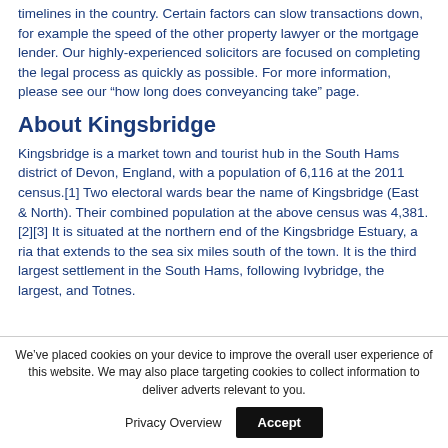timelines in the country. Certain factors can slow transactions down, for example the speed of the other property lawyer or the mortgage lender. Our highly-experienced solicitors are focused on completing the legal process as quickly as possible. For more information, please see our “how long does conveyancing take” page.
About Kingsbridge
Kingsbridge is a market town and tourist hub in the South Hams district of Devon, England, with a population of 6,116 at the 2011 census.[1] Two electoral wards bear the name of Kingsbridge (East & North). Their combined population at the above census was 4,381.[2][3] It is situated at the northern end of the Kingsbridge Estuary, a ria that extends to the sea six miles south of the town. It is the third largest settlement in the South Hams, following Ivybridge, the largest, and Totnes.
We’ve placed cookies on your device to improve the overall user experience of this website. We may also place targeting cookies to collect information to deliver adverts relevant to you.
Privacy Overview  Accept